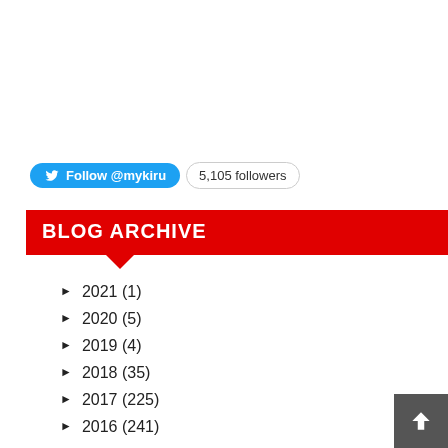[Figure (other): Twitter Follow button showing 'Follow @mykiru' and '5,105 followers' badge]
BLOG ARCHIVE
► 2021 (1)
► 2020 (5)
► 2019 (4)
► 2018 (35)
► 2017 (225)
► 2016 (241)
▼ 2015 (494)
► December (49)
► November (31)